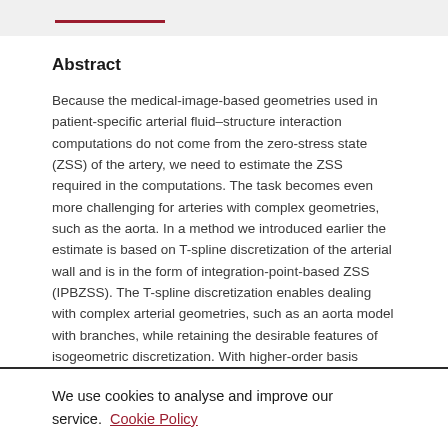Abstract
Because the medical-image-based geometries used in patient-specific arterial fluid–structure interaction computations do not come from the zero-stress state (ZSS) of the artery, we need to estimate the ZSS required in the computations. The task becomes even more challenging for arteries with complex geometries, such as the aorta. In a method we introduced earlier the estimate is based on T-spline discretization of the arterial wall and is in the form of integration-point-based ZSS (IPBZSS). The T-spline discretization enables dealing with complex arterial geometries, such as an aorta model with branches, while retaining the desirable features of isogeometric discretization. With higher-order basis functions of the isogeometric discretization, we may be able to achieve a similar level of
We use cookies to analyse and improve our service. Cookie Policy